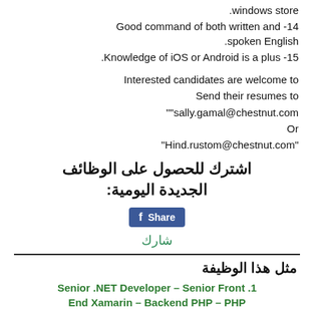.windows store
Good command of both written and -14 .spoken English
.Knowledge of iOS or Android is a plus -15
Interested candidates are welcome to Send their resumes to ""sally.gamal@chestnut.com Or "Hind.rustom@chestnut.com"
اشترك للحصول على الوظائف الجديدة اليومية:
[Figure (other): Facebook Share button]
شارك
مثل هذا الوظيفة
1. Senior .NET Developer – Senior Front End Xamarin – Backend PHP – PHP Developer jobs September 2020